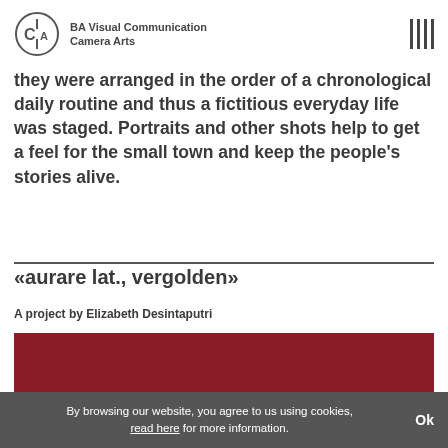BA Visual Communication Camera Arts
they were arranged in the order of a chronological daily routine and thus a fictitious everyday life was staged. Portraits and other shots help to get a feel for the small town and keep the people's stories alive.
«aurare lat., vergolden»
A project by Elizabeth Desintaputri
[Figure (photo): Dark red/maroon rectangular image area, partially visible, cropped at bottom of page]
By browsing our website, you agree to us using cookies, read here for more information. Ok